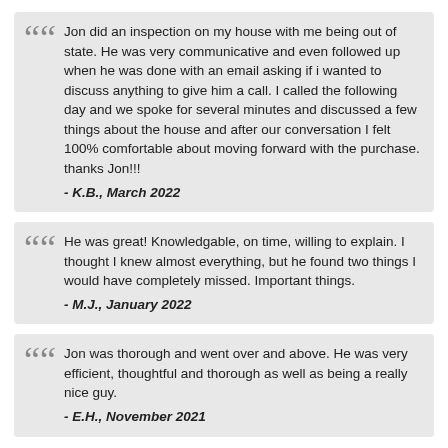Jon did an inspection on my house with me being out of state. He was very communicative and even followed up when he was done with an email asking if i wanted to discuss anything to give him a call. I called the following day and we spoke for several minutes and discussed a few things about the house and after our conversation I felt 100% comfortable about moving forward with the purchase. thanks Jon!!! - K.B., March 2022
He was great! Knowledgable, on time, willing to explain. I thought I knew almost everything, but he found two things I would have completely missed. Important things. - M.J., January 2022
Jon was thorough and went over and above. He was very efficient, thoughtful and thorough as well as being a really nice guy. - E.H., November 2021